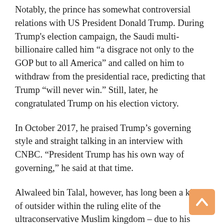Notably, the prince has somewhat controversial relations with US President Donald Trump. During Trump's election campaign, the Saudi multi-billionaire called him “a disgrace not only to the GOP but to all America” and called on him to withdraw from the presidential race, predicting that Trump “will never win.” Still, later, he congratulated Trump on his election victory.
In October 2017, he praised Trump’s governing style and straight talking in an interview with CNBC. “President Trump has his own way of governing,” he said at that time.
Alwaleed bin Talal, however, has long been a kind of outsider within the ruling elite of the ultraconservative Muslim kingdom – due to his liberal views and open advocacy of women’s rights. He particularly hired a first Saudi female pilot for his